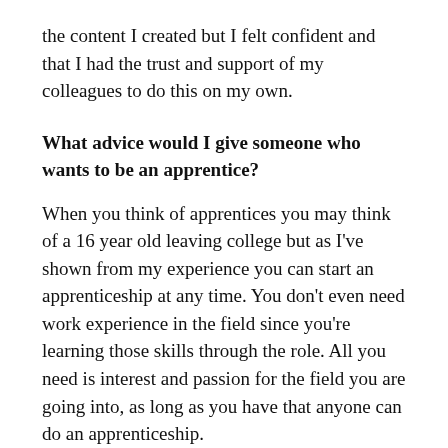the content I created but I felt confident and that I had the trust and support of my colleagues to do this on my own.
What advice would I give someone who wants to be an apprentice?
When you think of apprentices you may think of a 16 year old leaving college but as I've shown from my experience you can start an apprenticeship at any time. You don't even need work experience in the field since you're learning those skills through the role. All you need is interest and passion for the field you are going into, as long as you have that anyone can do an apprenticeship.
The main piece of advice I would give is don't be afraid to ask for help. If you are struggling with your work or training, there are lots of people who are there to support